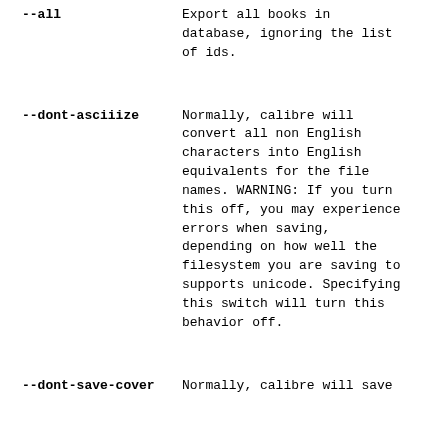--all	Export all books in database, ignoring the list of ids.
--dont-asciiize	Normally, calibre will convert all non English characters into English equivalents for the file names. WARNING: If you turn this off, you may experience errors when saving, depending on how well the filesystem you are saving to supports unicode. Specifying this switch will turn this behavior off.
--dont-save-cover	Normally, calibre will save...